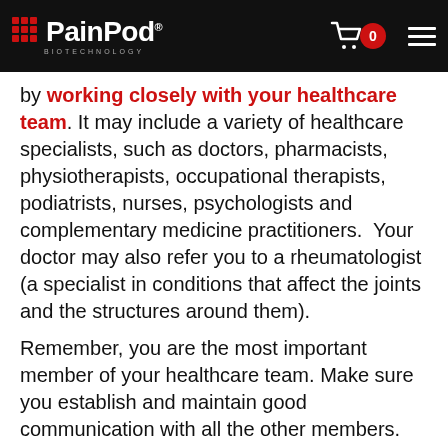PainPod Biotechnology — navigation header with cart (0) and menu
by working closely with your healthcare team. It may include a variety of healthcare specialists, such as doctors, pharmacists, physiotherapists, occupational therapists, podiatrists, nurses, psychologists and complementary medicine practitioners.  Your doctor may also refer you to a rheumatologist (a specialist in conditions that affect the joints and the structures around them).
Remember, you are the most important member of your healthcare team. Make sure you establish and maintain good communication with all the other members.
4. Know about your treatment